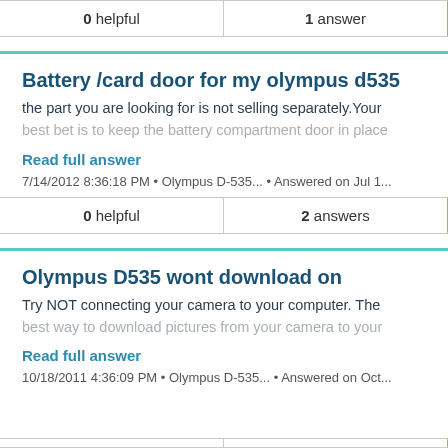| helpful | answer |
| --- | --- |
| 0 helpful | 1 answer |
Battery /card door for my olympus d535
the part you are looking for is not selling separately.Your best bet is to keep the battery compartment door in place
Read full answer
7/14/2012 8:36:18 PM • Olympus D-535... • Answered on Jul 1...
| helpful | answers |
| --- | --- |
| 0 helpful | 2 answers |
Olympus D535 wont download on
Try NOT connecting your camera to your computer. The best way to download pictures from your camera to your
Read full answer
10/18/2011 4:36:09 PM • Olympus D-535... • Answered on Oct...